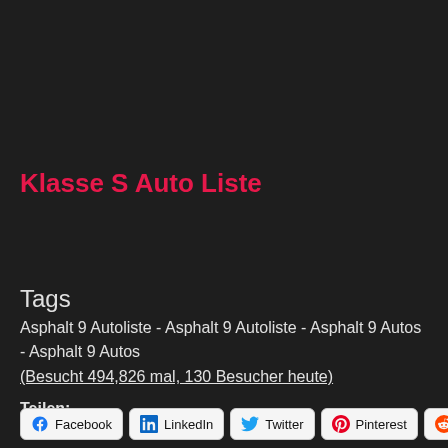Klasse S Auto Liste
Tags
Asphalt 9 Autoliste - Asphalt 9 Autoliste - Asphalt 9 Autos - Asphalt 9 Autos
(Besucht 494,826 mal, 130 Besucher heute)
Teilen:
Facebook  LinkedIn  Twitter  Pinterest  reddit